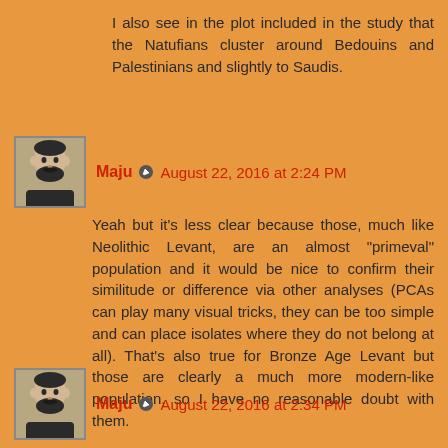I also see in the plot included in the study that the Natufians cluster around Bedouins and Palestinians and slightly to Saudis.
Maju ✏ August 22, 2016 at 2:24 PM
Yeah but it's less clear because those, much like Neolithic Levant, are an almost "primeval" population and it would be nice to confirm their similitude or difference via other analyses (PCAs can play many visual tricks, they can be too simple and can place isolates where they do not belong at all). That's also true for Bronze Age Levant but those are clearly a much more modern-like population, so I have no reasonable doubt with them.
Maju ✏ August 22, 2016 at 2:34 PM
I was above asking for a contemporary of David, well Bronze Age Levant are close enough (rather